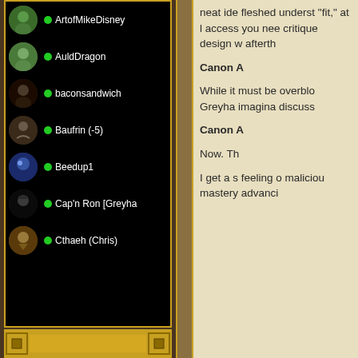ArtofMikeDisney
AuldDragon
baconsandwich
Baufrin (-5)
Beedup1
Cap'n Ron [Greyha
Cthaeh (Chris)
neat ide fleshed underst "fit," at l access you nee critique design w afterth
Canon A
While it must be overblo Greyha imagina discuss
Canon A
Now. Th
I get a s feeling o maliciou mastery advanci